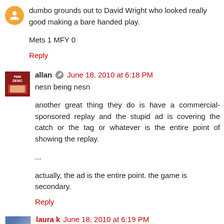dumbo grounds out to David Wright who looked really good making a bare handed play.
Mets 1 MFY 0
Reply
allan  June 18, 2010 at 6:18 PM
nesn being nesn
another great thing they do is have a commercial-sponsored replay and the stupid ad is covering the catch or the tag or whatever is the entire point of showing the replay.
...
actually, the ad is the entire point. the game is secondary.
Reply
laura k  June 18, 2010 at 6:19 PM